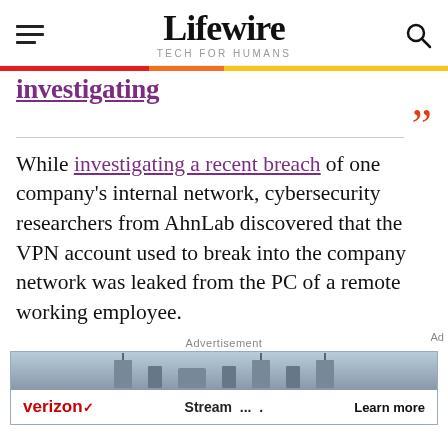Lifewire — TECH FOR HUMANS
While investigating a recent breach of one company's internal network, cybersecurity researchers from AhnLab discovered that the VPN account used to break into the company network was leaked from the PC of a remote working employee.
[Figure (screenshot): Advertisement banner for Verizon with text 'Stream ... Learn more' and Verizon logo]
Advertisement